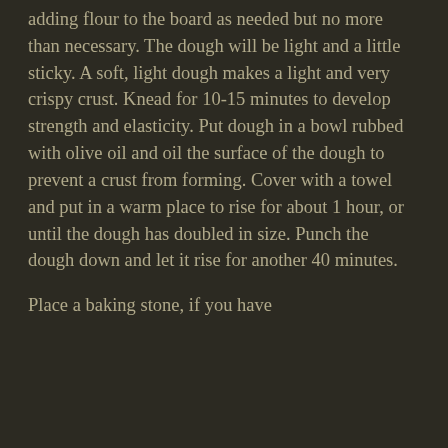adding flour to the board as needed but no more than necessary. The dough will be light and a little sticky. A soft, light dough makes a light and very crispy crust. Knead for 10-15 minutes to develop strength and elasticity. Put dough in a bowl rubbed with olive oil and oil the surface of the dough to prevent a crust from forming. Cover with a towel and put in a warm place to rise for about 1 hour, or until the dough has doubled in size. Punch the dough down and let it rise for another 40 minutes.

Place a baking stone, if you have